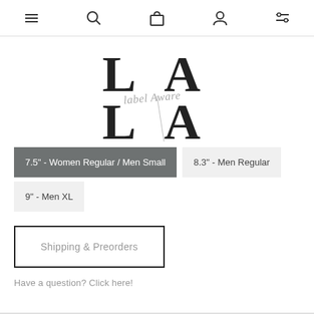[Figure (screenshot): Navigation bar with hamburger menu, search, bag, user, and filter icons]
[Figure (logo): LA Label Aware logo with large serif L and A letters and cursive 'label Aware' text in the middle]
7.5" - Women Regular / Men Small
8.3" - Men Regular
9" - Men XL
Shipping & Preorders
Have a question? Click here!